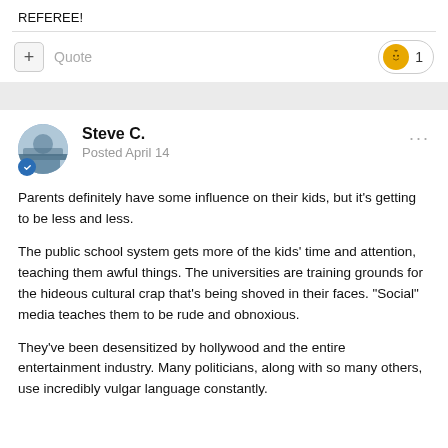REFEREE!
+ Quote  1
Steve C.
Posted April 14
Parents definitely have some influence on their kids, but it's getting to be less and less.

The public school system gets more of the kids' time and attention, teaching them awful things.  The universities are training grounds for the hideous cultural crap that's being shoved in their faces.  "Social" media teaches them to be rude and obnoxious.

They've been desensitized by hollywood and the entire entertainment industry.  Many politicians, along with so many others, use incredibly vulgar language constantly.